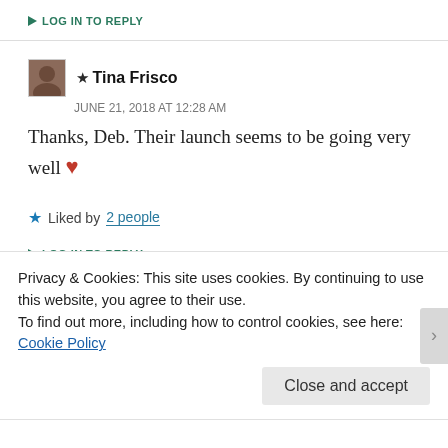↪ LOG IN TO REPLY
★ Tina Frisco
JUNE 21, 2018 AT 12:28 AM
Thanks, Deb. Their launch seems to be going very well ❤
★ Liked by 2 people
↪ LOG IN TO REPLY
Privacy & Cookies: This site uses cookies. By continuing to use this website, you agree to their use.
To find out more, including how to control cookies, see here: Cookie Policy
Close and accept